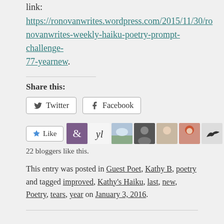link:
https://ronovanwrites.wordpress.com/2015/11/30/ronovanwrites-weekly-haiku-poetry-prompt-challenge-77-yearnew.
Share this:
[Figure (other): Share buttons: Twitter and Facebook]
[Figure (other): Like button with 9 blogger avatars]
22 bloggers like this.
This entry was posted in Guest Poet, Kathy B, poetry and tagged improved, Kathy's Haiku, last, new, Poetry, tears, year on January 3, 2016.